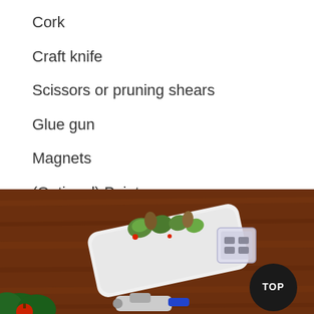Cork
Craft knife
Scissors or pruning shears
Glue gun
Magnets
(Optional) Paint
[Figure (photo): Photo of craft supplies on a wooden table: a white rectangular succulent planter with succulents and pine cones, a small clear box with magnets, a glue gun, greenery, and a black circular TOP badge in the corner.]